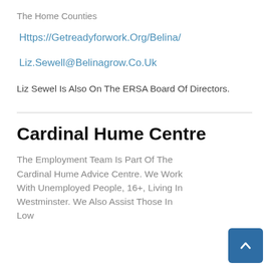The Home Counties
Https://Getreadyforwork.Org/Belina/
Liz.Sewell@Belinagrow.Co.Uk
Liz Sewel Is Also On The ERSA Board Of Directors.
Cardinal Hume Centre
The Employment Team Is Part Of The Cardinal Hume Advice Centre. We Work With Unemployed People, 16+, Living In Westminster. We Also Assist Those In Low